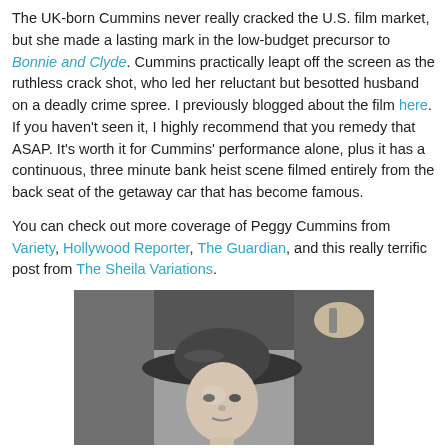The UK-born Cummins never really cracked the U.S. film market, but she made a lasting mark in the low-budget precursor to Bonnie and Clyde. Cummins practically leapt off the screen as the ruthless crack shot, who led her reluctant but besotted husband on a deadly crime spree. I previously blogged about the film here. If you haven't seen it, I highly recommend that you remedy that ASAP. It's worth it for Cummins' performance alone, plus it has a continuous, three minute bank heist scene filmed entirely from the back seat of the getaway car that has become famous.
You can check out more coverage of Peggy Cummins from Variety, Hollywood Reporter, The Guardian, and this really terrific post from The Sheila Variations.
[Figure (photo): Black and white photo of a young woman wearing a wide-brimmed hat, looking slightly off camera, with another person's hand visible near her]